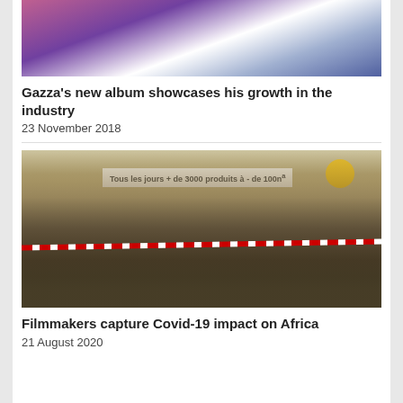[Figure (photo): Partial photo of a person seated, wearing white shirt, jeans, bracelet and watch, with purple background]
Gazza’s new album showcases his growth in the industry
23 November 2018
[Figure (photo): People standing in a queue outdoors in front of a banner reading 'Tous les jours + de 3000 produits à - de 100n' with a yellow circle logo; separated by red and white tape barrier]
Filmmakers capture Covid-19 impact on Africa
21 August 2020